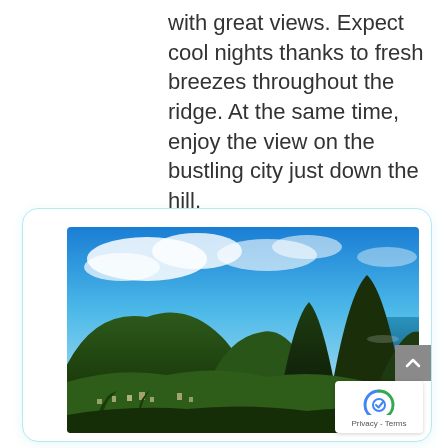with great views. Expect cool nights thanks to fresh breezes throughout the ridge. At the same time, enjoy the view on the bustling city just down the hill.
[Figure (photo): Aerial landscape photograph showing lush green mountains and the iconic twin Piton peaks of Saint Lucia rising sharply above a tropical town and coastline, under a partly cloudy blue sky.]